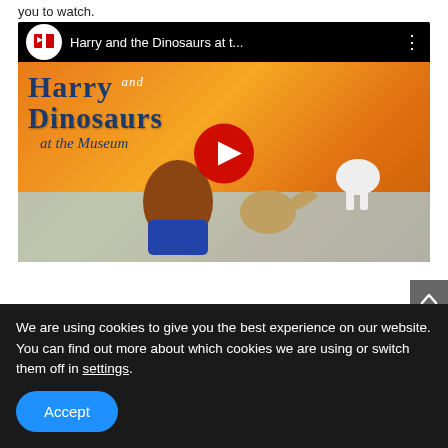you to watch.
[Figure (screenshot): YouTube video thumbnail showing the book 'Harry and the Dinosaurs at the Museum' with a red play button overlay. The video bar shows a YouTube-style logo and title 'Harry and the Dinosaurs at t...' with a three-dot menu icon.]
We are using cookies to give you the best experience on our website.
You can find out more about which cookies we are using or switch them off in settings.